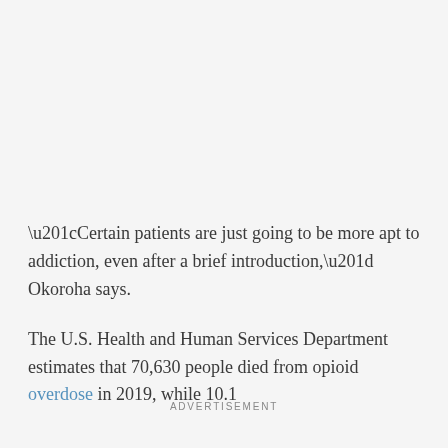“Certain patients are just going to be more apt to addiction, even after a brief introduction,” Okoroha says.
The U.S. Health and Human Services Department estimates that 70,630 people died from opioid overdose in 2019, while 10.1
ADVERTISEMENT